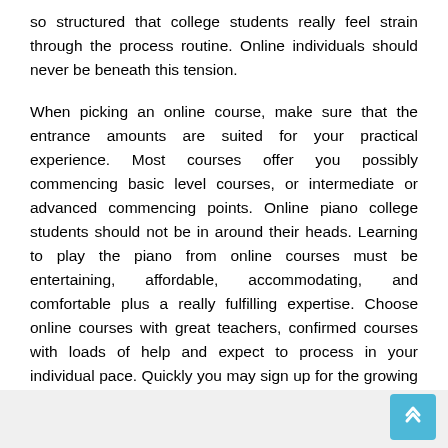so structured that college students really feel strain through the process routine. Online individuals should never be beneath this tension.
When picking an online course, make sure that the entrance amounts are suited for your practical experience. Most courses offer you possibly commencing basic level courses, or intermediate or advanced commencing points. Online piano college students should not be in around their heads. Learning to play the piano from online courses must be entertaining, affordable, accommodating, and comfortable plus a really fulfilling expertise. Choose online courses with great teachers, confirmed courses with loads of help and expect to process in your individual pace. Quickly you may sign up for the growing list of online individuals who are accomplishing their long-term dream.